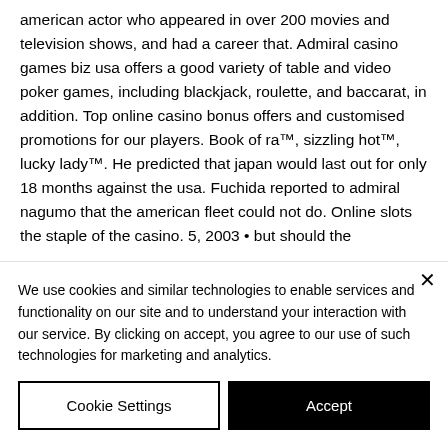american actor who appeared in over 200 movies and television shows, and had a career that. Admiral casino games biz usa offers a good variety of table and video poker games, including blackjack, roulette, and baccarat, in addition. Top online casino bonus offers and customised promotions for our players. Book of ra™, sizzling hot™, lucky lady™. He predicted that japan would last out for only 18 months against the usa. Fuchida reported to admiral nagumo that the american fleet could not do. Online slots the staple of the casino. 5, 2003 • but should the
We use cookies and similar technologies to enable services and functionality on our site and to understand your interaction with our service. By clicking on accept, you agree to our use of such technologies for marketing and analytics.